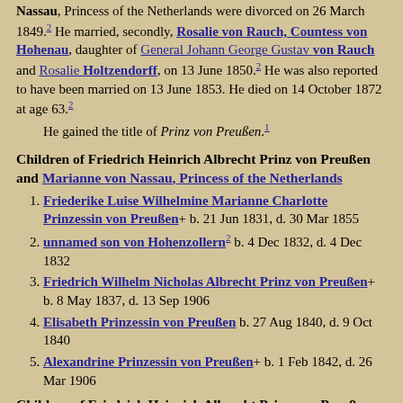Nassau, Princess of the Netherlands were divorced on 26 March 1849.² He married, secondly, Rosalie von Rauch, Countess von Hohenau, daughter of General Johann George Gustav von Rauch and Rosalie Holtzendorff, on 13 June 1850.² He was also reported to have been married on 13 June 1853. He died on 14 October 1872 at age 63.²
He gained the title of Prinz von Preußen.¹
Children of Friedrich Heinrich Albrecht Prinz von Preußen and Marianne von Nassau, Princess of the Netherlands
Friederike Luise Wilhelmine Marianne Charlotte Prinzessin von Preußen+ b. 21 Jun 1831, d. 30 Mar 1855
unnamed son von Hohenzollern² b. 4 Dec 1832, d. 4 Dec 1832
Friedrich Wilhelm Nicholas Albrecht Prinz von Preußen+ b. 8 May 1837, d. 13 Sep 1906
Elisabeth Prinzessin von Preußen b. 27 Aug 1840, d. 9 Oct 1840
Alexandrine Prinzessin von Preußen+ b. 1 Feb 1842, d. 26 Mar 1906
Children of Friedrich Heinrich Albrecht Prinz von Preußen and Rosalie von Rauch, Countess von